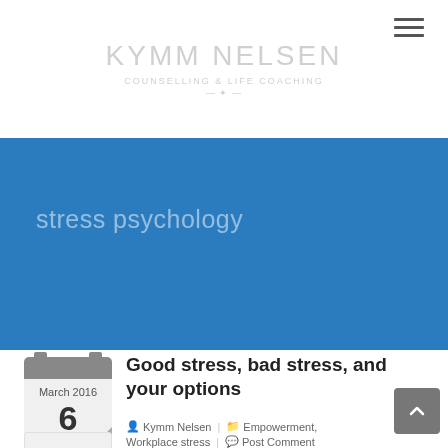≡ (hamburger menu)
[Figure (logo): Faded website logo text in light gray]
stress psychology
Good stress, bad stress, and your options
Kymm Nelsen | Empowerment, Workplace stress | Post Comment